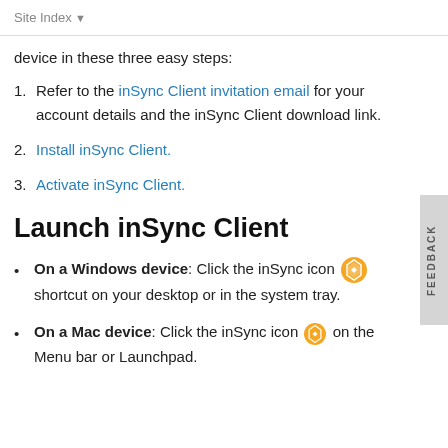Site Index
device in these three easy steps:
Refer to the inSync Client invitation email for your account details and the inSync Client download link.
Install inSync Client.
Activate inSync Client.
Launch inSync Client
On a Windows device: Click the inSync icon [icon] shortcut on your desktop or in the system tray.
On a Mac device: Click the inSync icon [icon] on the Menu bar or Launchpad.